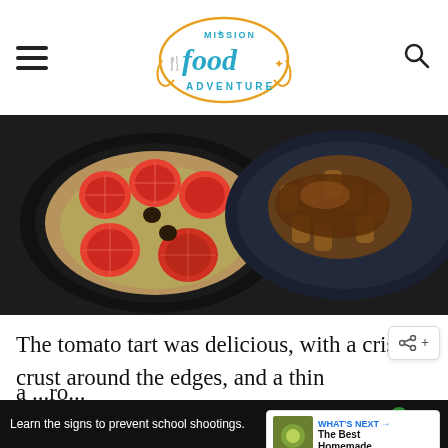Mission Food Adventure
[Figure (photo): Top-down view of two dishes: left is a tomato tart with sliced tomatoes and Nicoise olives in a pastry-lined black pan; right is a braised meat dish with rigatoni pasta and brown sauce in a dark blue pan, on a dark background.]
The tomato tart was delicious, with a crisp crust around the edges, and a thin crust beneath the sauteed onion, sliced tomatoes. Three Nicoise olives, and a ...ro...
[Figure (screenshot): What's Next promotional widget showing a small thumbnail of a dish with label 'WHAT'S NEXT' and 'The Best Homemade...']
Learn the signs to prevent school shootings. Sandy Hook Promise